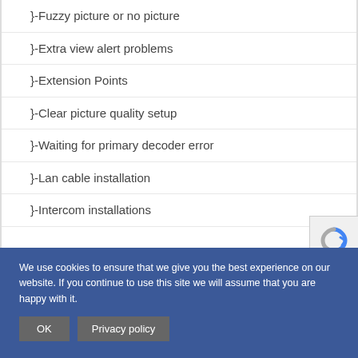}-Fuzzy picture or no picture
}-Extra view alert problems
}-Extension Points
}-Clear picture quality setup
}-Waiting for primary decoder error
}-Lan cable installation
}-Intercom installations
We use cookies to ensure that we give you the best experience on our website. If you continue to use this site we will assume that you are happy with it.
OK  Privacy policy